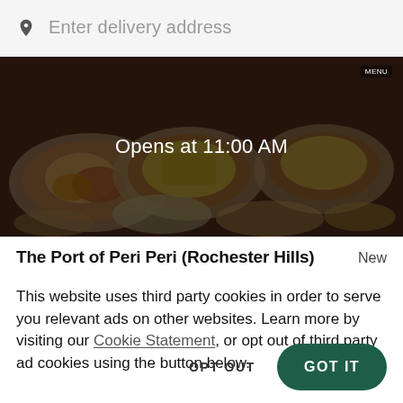Enter delivery address
[Figure (photo): Food banner image showing bowls of food on a table with a dark overlay, and text 'Opens at 11:00 AM' centered on it]
The Port of Peri Peri (Rochester Hills)
New
This website uses third party cookies in order to serve you relevant ads on other websites. Learn more by visiting our Cookie Statement, or opt out of third party ad cookies using the button below.
OPT OUT
GOT IT